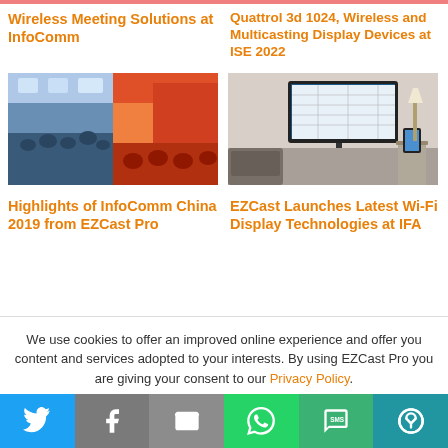Wireless Meeting Solutions at InfoComm
Quattrol 3d 1024, Wireless and Multicasting Display Devices at ISE 2022
[Figure (photo): Crowd at InfoComm China 2019 trade show with large LED displays]
[Figure (photo): Room scene with TV on wall and tablet on table showing wireless display]
Highlights of InfoComm China 2019 from EZCast Pro
EZCast Launches Latest Wi-Fi Display Technologies at IFA
We use cookies to offer an improved online experience and offer you content and services adopted to your interests. By using EZCast Pro you are giving your consent to our Privacy Policy.
Social share bar: Twitter, Facebook, Email, WhatsApp, SMS, More